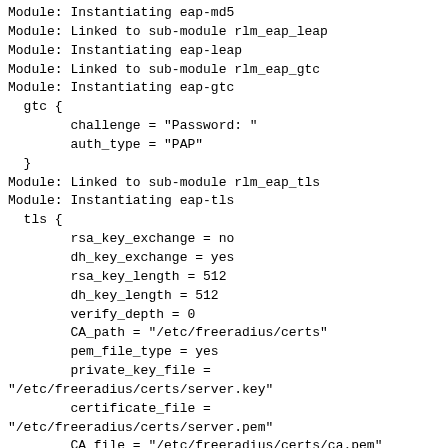Module: Instantiating eap-md5
Module: Linked to sub-module rlm_eap_leap
Module: Instantiating eap-leap
Module: Linked to sub-module rlm_eap_gtc
Module: Instantiating eap-gtc
  gtc {
        challenge = "Password: "
        auth_type = "PAP"
  }
Module: Linked to sub-module rlm_eap_tls
Module: Instantiating eap-tls
  tls {
        rsa_key_exchange = no
        dh_key_exchange = yes
        rsa_key_length = 512
        dh_key_length = 512
        verify_depth = 0
        CA_path = "/etc/freeradius/certs"
        pem_file_type = yes
        private_key_file =
"/etc/freeradius/certs/server.key"
        certificate_file =
"/etc/freeradius/certs/server.pem"
        CA_file = "/etc/freeradius/certs/ca.pem"
        private_key_password = "whatever"
        dh_file = "/etc/freeradius/certs/dh"
        random_file = "/dev/urandom"
        fragment_size = 1024
        include_length = yes
        check_crl = no